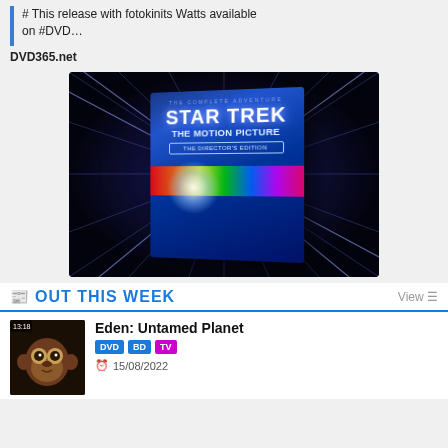# This release with fotokinits Watts available on #DVD…
DVD365.net
[Figure (photo): Star Trek The Motion Picture – The Director's Edition DVD/Blu-ray box set cover, showing the Enterprise in a warp-speed rainbow light burst against a blue starfield with light rays.]
OUT THIS WEEK
Eden: Untamed Planet
DVD BD TV
15/08/2022